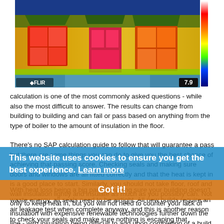[Figure (photo): FLIR thermal infrared image of a house facade showing heat loss. The image shows the front of a residential building with three windows and a front door. Colors range from blue/dark (cooler) to green/yellow/red (warmer), with hot spots around windows and door. A color scale bar is visible on the right side. FLIR logo and temperature reading 7.9 are shown in the bottom corners.]
calculation is one of the most commonly asked questions - while also the most difficult to answer. The results can change from building to building and can fail or pass based on anything from the type of boiler to the amount of insulation in the floor.
There's no SAP calculation guide to follow that will guarantee a pass but there are some things you can do to give you the best chance of achieving that passing score. Checking seals and making sure doors and windows are all fitted correctly and that the heat is kept in is a good place to start. Similarly, you should not take floor, roof and wall insulation lightly and insulate as much as you possibly can. Not only to keep heat in, but you will not need to counter your lack of insulation with expensive renewable technologies further down the line - with insulation being difficult to add upon completion of a build.
With heat loss being a big part of making sure your building doesn't waste energy, all seals need to be airtight. All new builds require an air leakage test when complete anyway, and this is another reason to check your seals and make sure nothing is escaping that shouldn't be
This website uses cookies to ensure you get the best experience. Learn more
Got it!